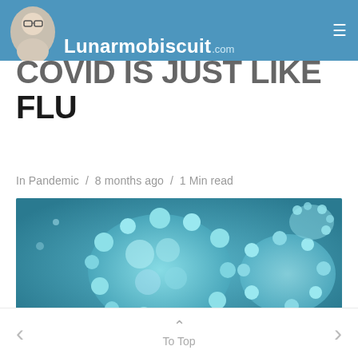Lunarmobiscuit.com
COVID IS JUST LIKE THE FLU
In Pandemic / 8 months ago / 1 Min read
[Figure (photo): Close-up microscopic image of coronavirus/virus particles on a teal/cyan background]
Two years into this global pandemic, many misguided people are still comparing Covid-19 to influenza. 1,600 death in a week in 2018 was tragic, but those influenza spikes are barely
< To Top >